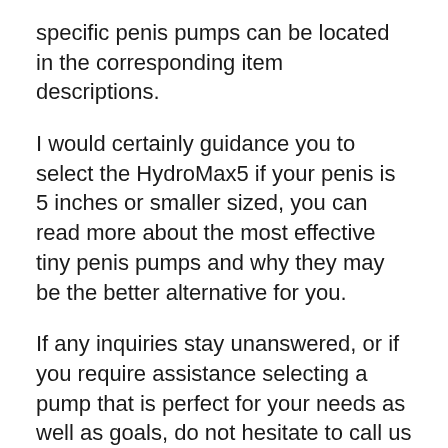specific penis pumps can be located in the corresponding item descriptions.
I would certainly guidance you to select the HydroMax5 if your penis is 5 inches or smaller sized, you can read more about the most effective tiny penis pumps and why they may be the better alternative for you.
If any inquiries stay unanswered, or if you require assistance selecting a pump that is perfect for your needs as well as goals, do not hesitate to call us today.
You’re getting a good quality pump for a great cost and it’s not that far behind in terms of power contrasted to the top 2 best penis pumps.